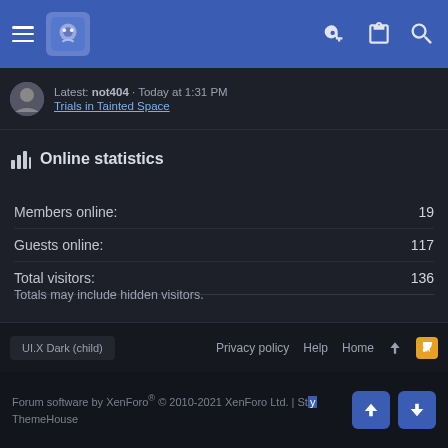Navigation bar with hamburger menu, logo, key icon, clipboard icon, search icon
Latest: not404 · Today at 1:31 PM
Trials in Tainted Space
Online statistics
| Stat | Value |
| --- | --- |
| Members online: | 19 |
| Guests online: | 117 |
| Total visitors: | 136 |
Totals may include hidden visitors.
UI.X Dark (child)   Privacy policy   Help   Home   ↑   RSS
Forum software by XenForo® © 2010-2021 XenForo Ltd. | Style by ThemeHouse